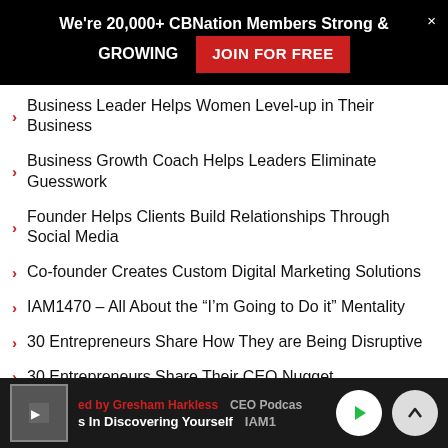We're 20,000+ CBNation Members Strong & GROWING  JOIN FOR FREE
Business Leader Helps Women Level-up in Their Business
Business Growth Coach Helps Leaders Eliminate Guesswork
Founder Helps Clients Build Relationships Through Social Media
Co-founder Creates Custom Digital Marketing Solutions
IAM1470 – All About the "I'm Going to Do it" Mentality
30 Entrepreneurs Share How They are Being Disruptive
30 Entrepreneurs Share Their CEO Nugget
IAM1469 – The Struggle of Focusing
Our Sponsors
ed by Gresham Harkless  CEO Podcas  s In Discovering Yourself  IAM1